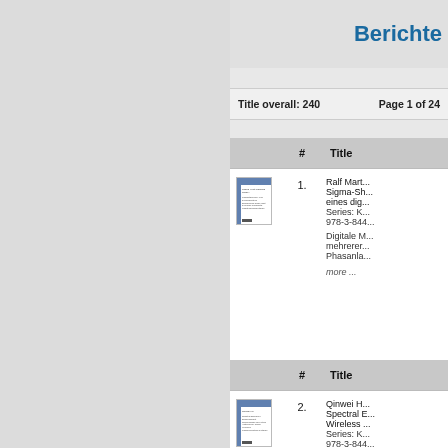Berichte
Title overall: 240    Page 1 of 24
|  | # | Title |
| --- | --- | --- |
| [book cover 1] | 1. | Ralf Mart...
Sigma-Sh...
eines dig...
Series: K...
978-3-844...

Digitale M...
mehrerer...
Phasanla...

more ... |
| [book cover 2] | 2. | Qinwei H...
Spectral E...
Wireless ...
Series: K...
978-3-844...

Solie... |